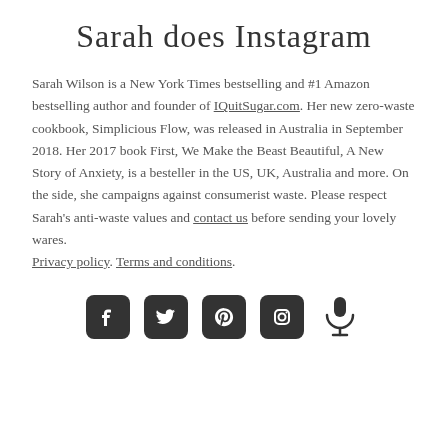Sarah does Instagram
Sarah Wilson is a New York Times bestselling and #1 Amazon bestselling author and founder of IQuitSugar.com. Her new zero-waste cookbook, Simplicious Flow, was released in Australia in September 2018. Her 2017 book First, We Make the Beast Beautiful, A New Story of Anxiety, is a besteller in the US, UK, Australia and more. On the side, she campaigns against consumerist waste. Please respect Sarah’s anti-waste values and contact us before sending your lovely wares. Privacy policy. Terms and conditions.
[Figure (infographic): Row of five social media / action icons: Facebook, Twitter, Pinterest, Instagram, Microphone]